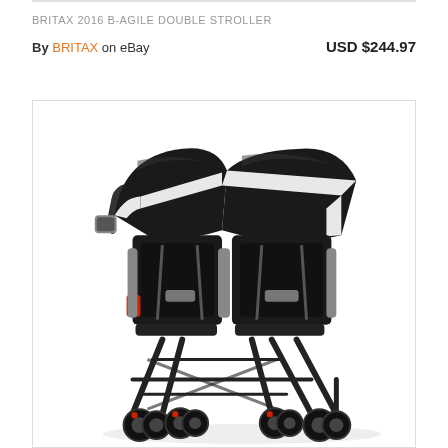BRITAX 2016 B-AGILE DOUBLE STROLLER
By BRITAX on eBay
USD $244.97
[Figure (photo): Britax 2016 B-Agile double stroller in black and grey/white colorway with red accent wheels, shown from a slightly elevated front-right angle. The stroller has two seats side by side, matching canopies with white trim, cup holder on left handlebar, and four pairs of wheels.]